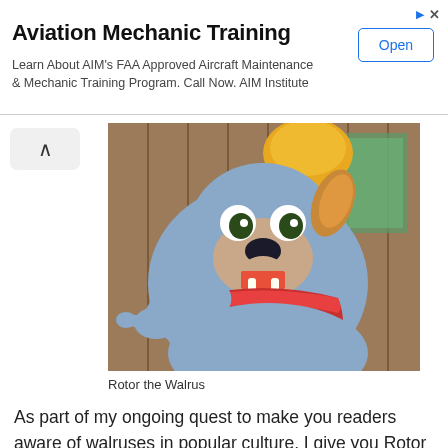[Figure (infographic): Advertisement banner for Aviation Mechanic Training with title, body text, and Open button]
[Figure (photo): Animated cartoon character Rotor the Walrus from the Sonic the Hedgehog series, a blue walrus wearing a red sash, pointing with one hand, with wood paneling in the background]
Rotor the Walrus
As part of my ongoing quest to make you readers aware of walruses in popular culture, I give you Rotor the Walrus, a character in the Sonic the Hedgehog cartoon series. I became aware of Rotor by accident, I'm too old to have watched the Sonic